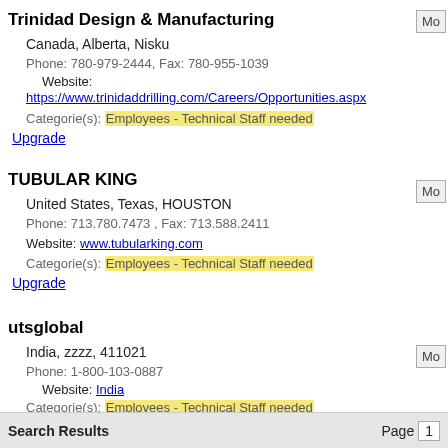Trinidad Design & Manufacturing
Canada, Alberta, Nisku
Phone: 780-979-2444, Fax: 780-955-1039
Website: https://www.trinidaddrilling.com/Careers/Opportunities.aspx
Categorie(s): Employees - Technical Staff needed
Upgrade
TUBULAR KING
United States, Texas, HOUSTON
Phone: 713.780.7473 , Fax: 713.588.2411
Website: www.tubularking.com
Categorie(s): Employees - Technical Staff needed
Upgrade
utsglobal
India, zzzz, 411021
Phone: 1-800-103-0887
Website: India
Categorie(s): Employees - Technical Staff needed
Upgrade
Search Results   Page 1